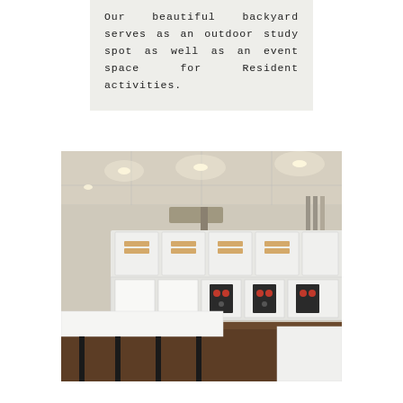Our beautiful backyard serves as an outdoor study spot as well as an event space for Resident activities.
[Figure (photo): Interior photo of a commercial laundry room with rows of white stacked dryers and washing machines along the wall, white folding tables in the foreground, dark wood floor, drop ceiling with recessed lighting.]